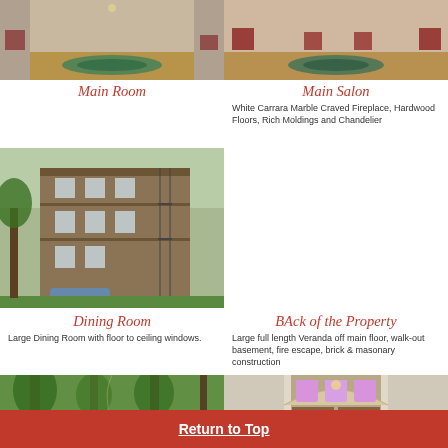[Figure (photo): Interior photo of main room hallway with green rug]
[Figure (photo): Interior photo of main salon with chairs and green rug]
Main Room
Main Salon
White Carrara Marble Craved Fireplace, Hardwood Floors, Rich Moldings and Chandelier
[Figure (photo): Interior dining room with fireplace and hardwood floors]
[Figure (photo): Exterior back of the property showing brick building with fire escape]
Dining Room
BAck of the Property
Large Dining Room with floor to ceiling windows.
Large full length Veranda off main floor, walk-out basement, fire escape, brick & masonary construction
[Figure (photo): Outdoor trees and green pathway]
[Figure (photo): Interior entryway with ornate door and stained glass windows]
Return to Top